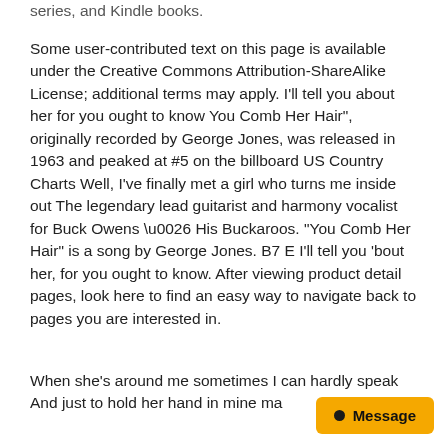series, and Kindle books.
Some user-contributed text on this page is available under the Creative Commons Attribution-ShareAlike License; additional terms may apply. I'll tell you about her for you ought to know You Comb Her Hair", originally recorded by George Jones, was released in 1963 and peaked at #5 on the billboard US Country Charts Well, I've finally met a girl who turns me inside out The legendary lead guitarist and harmony vocalist for Buck Owens \u0026 His Buckaroos. "You Comb Her Hair" is a song by George Jones. B7 E I'll tell you 'bout her, for you ought to know. After viewing product detail pages, look here to find an easy way to navigate back to pages you are interested in.
When she's around me sometimes I can hardly speak And just to hold her hand in mine ma…